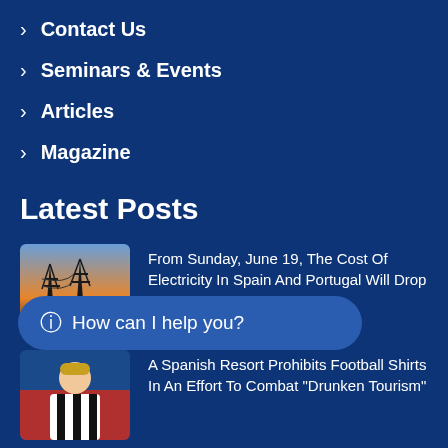> Contact Us
> Seminars & Events
> Articles
> Magazine
Latest Posts
[Figure (photo): Electric transmission towers at sunset]
From Sunday, June 19, The Cost Of Electricity In Spain And Portugal Will Drop
[Figure (photo): Person in black and white striped football shirt]
A Spanish Resort Prohibits Football Shirts In An Effort To Combat "Drunken Tourism"
How can I help you?
[Figure (photo): Partially visible image related to the third news article]
...wave That Hit Spain, Baby Swifts Are Dying As They Leave Their Nests